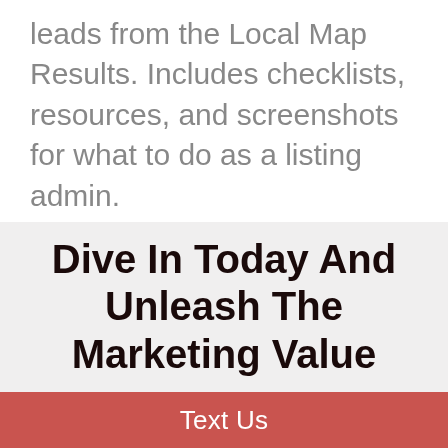leads from the Local Map Results. Includes checklists, resources, and screenshots for what to do as a listing admin.
Dive In Today And Unleash The Marketing Value
Text Us